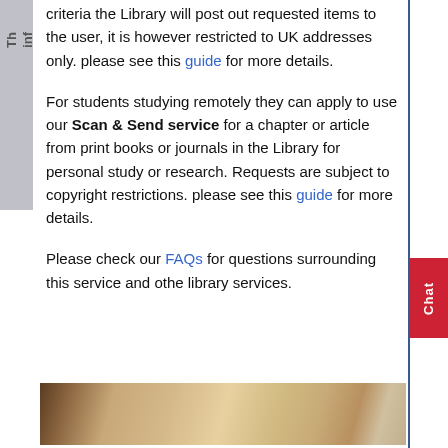criteria the Library will post out requested items to the user, it is however restricted to UK addresses only. please see this guide for more details.
For students studying remotely they can apply to use our Scan & Send service for a chapter or article from print books or journals in the Library for personal study or research. Requests are subject to copyright restrictions. please see this guide for more details.
Please check our FAQs for questions surrounding this service and other library services.
[Figure (photo): A horizontal strip showing a close-up photograph of wooden shelving or furniture surface with warm beige and brown tones.]